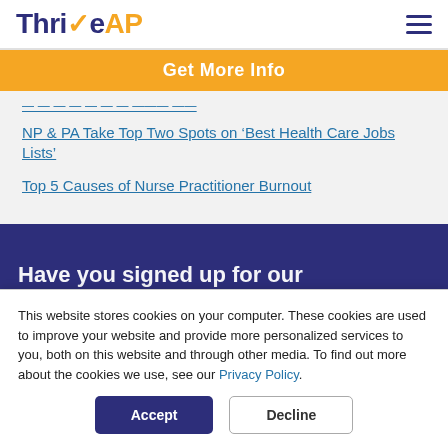ThriveAP
Get More Info
NP & PA Take Top Two Spots on 'Best Health Care Jobs Lists'
Top 5 Causes of Nurse Practitioner Burnout
Have you signed up for our
This website stores cookies on your computer. These cookies are used to improve your website and provide more personalized services to you, both on this website and through other media. To find out more about the cookies we use, see our Privacy Policy.